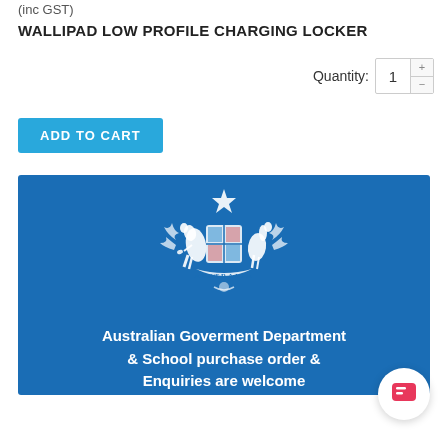(inc GST)
WALLIPAD LOW PROFILE CHARGING LOCKER
Quantity: 1
ADD TO CART
[Figure (illustration): Australian Government coat of arms on a blue banner background with text: Australian Goverment Department & School purchase order & Enquiries are welcome]
[Figure (other): Chat button icon in bottom right corner]